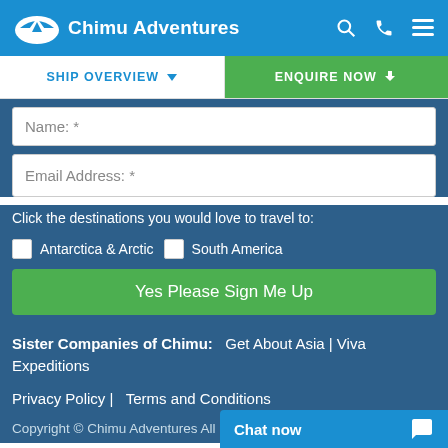Chimu Adventures
SHIP OVERVIEW   ENQUIRE NOW
Name: *
Email Address: *
Click the destinations you would love to travel to:
Antarctica & Arctic
South America
Yes Please Sign Me Up
Sister Companies of Chimu:  Get About Asia | Viva Expeditions
Privacy Policy |   Terms and Conditions
Copyright © Chimu Adventures All rights reserved 2004 - 2022
Chat now